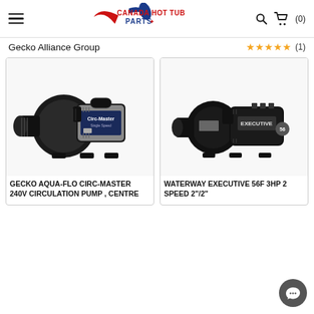Canada Hot Tub Parts — navigation header with hamburger menu, logo, search and cart icons
Gecko Alliance Group
★★★★★ (1)
[Figure (photo): Gecko Aqua-Flo Circ-Master 240V Circulation Pump product photo showing black pump with stainless steel motor]
[Figure (photo): Waterway Executive 56F 3HP 2 Speed 2"/2" pump product photo showing all-black pump motor]
GECKO AQUA-FLO CIRC-MASTER 240V CIRCULATION PUMP , CENTRE
WATERWAY EXECUTIVE 56F 3HP 2 SPEED 2"/2"